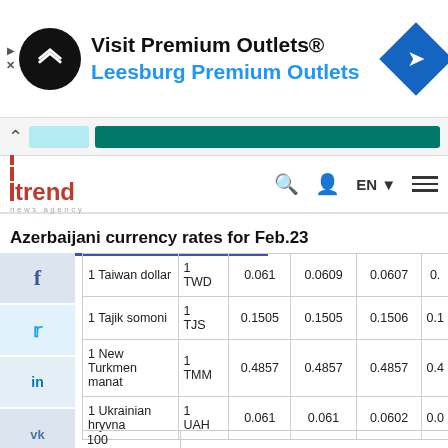[Figure (screenshot): Advertisement banner for Visit Premium Outlets® - Leesburg Premium Outlets with logo and navigation icon]
[Figure (screenshot): Browser navigation bar with URL bar and teal banner]
[Figure (logo): Trend News Agency logo with red bars and text, navigation icons including search, user, EN language selector, and hamburger menu]
Azerbaijani currency rates for Feb.23
| Currency Name | Code | Value 1 | Value 2 | Value 3 | Value 4 |
| --- | --- | --- | --- | --- | --- |
| 1 Taiwan dollar | 1 TWD | 0.061 | 0.0609 | 0.0607 | 0.0... |
| 1 Tajik somoni | 1 TJS | 0.1505 | 0.1505 | 0.1506 | 0.1... |
| 1 New Turkmen manat | 1 TMM | 0.4857 | 0.4857 | 0.4857 | 0.4... |
| 1 Ukrainian hryvna | 1 UAH | 0.061 | 0.061 | 0.0602 | 0.0... |